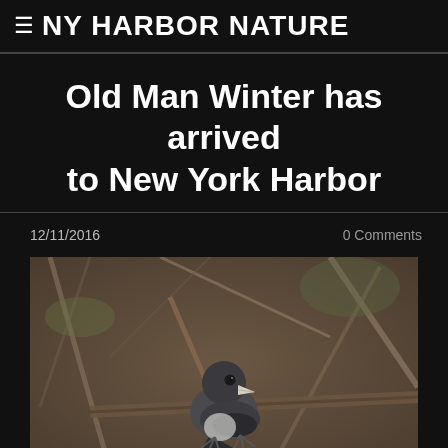≡ NY HARBOR NATURE
Old Man Winter has arrived to New York Harbor
12/11/2016
0 Comments
[Figure (photo): A dark-eyed junco bird perched among bare winter branches, shot with shallow depth of field. The bird is gray with a white beak, shown against a blurred brown and olive background of twigs and branches.]